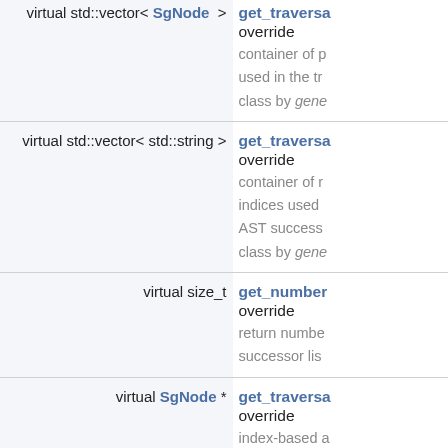| Signature | Description |
| --- | --- |
| virtual std::vector< SgNode > > | get_traversa... override
container of p
used in the tr
class by gene |
| virtual std::vector< std::string > | get_traversa... override
container of r
indices used
AST success
class by gene |
| virtual size_t | get_number... override
return numbe
successor lis |
| virtual SgNode * | get_traversa... override
index-based a
by index num |
| virtual size_t | get_childInd... |